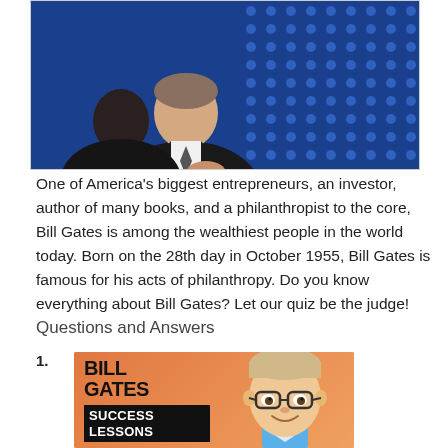[Figure (photo): Photo of Bill Gates seated, wearing a dark suit, with a blue dotted background, upper portion of body visible]
One of America's biggest entrepreneurs, an investor, author of many books, and a philanthropist to the core, Bill Gates is among the wealthiest people in the world today. Born on the 28th day in October 1955, Bill Gates is famous for his acts of philanthropy. Do you know everything about Bill Gates? Let our quiz be the judge!
Questions and Answers
1.
[Figure (illustration): Illustration with orange background showing a cartoon/illustrated portrait of Bill Gates wearing glasses and a blue shirt, with bold text reading BILL GATES SUCCESS LESSONS]